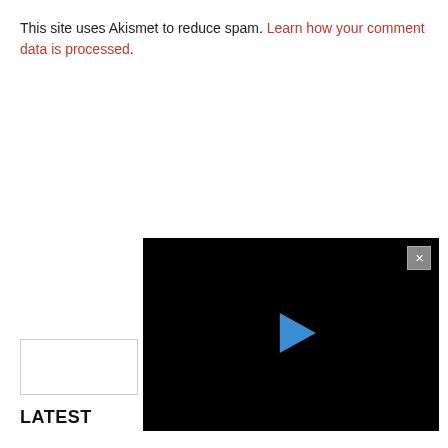This site uses Akismet to reduce spam. Learn how your comment data is processed.
[Figure (screenshot): Black video player with a blue play button triangle in the center and a gray X close button in the top-right corner]
LATEST